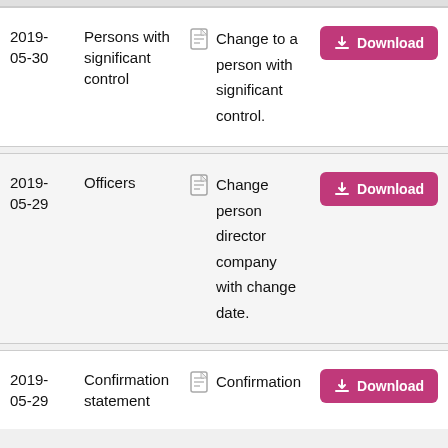| Date | Type | Icon | Description | Action |
| --- | --- | --- | --- | --- |
| 2019-05-30 | Persons with significant control |  | Change to a person with significant control. | Download |
| 2019-05-29 | Officers |  | Change person director company with change date. | Download |
| 2019-05-29 | Confirmation statement |  | Confirmation | Download |